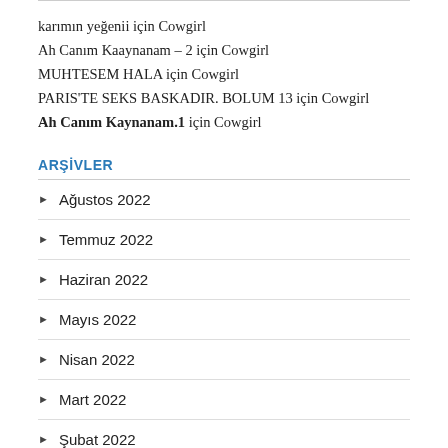karımın yeğenii için Cowgirl
Ah Canım Kaaynanam – 2 için Cowgirl
MUHTESEM HALA için Cowgirl
PARIS'TE SEKS BASKADIR. BOLUM 13 için Cowgirl
Ah Canım Kaynanam.1 için Cowgirl
ARŞİVLER
Ağustos 2022
Temmuz 2022
Haziran 2022
Mayıs 2022
Nisan 2022
Mart 2022
Şubat 2022
Ocak 2022